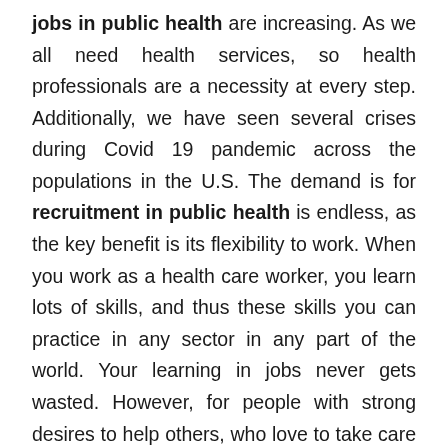jobs in public health are increasing. As we all need health services, so health professionals are a necessity at every step. Additionally, we have seen several crises during Covid 19 pandemic across the populations in the U.S. The demand is for recruitment in public health is endless, as the key benefit is its flexibility to work. When you work as a health care worker, you learn lots of skills, and thus these skills you can practice in any sector in any part of the world. Your learning in jobs never gets wasted. However, for people with strong desires to help others, who love to take care of others, a career in public health can be the most suitable job. Support them to enter and serve the nation wholeheartedly. Since ancient times, public health workers have